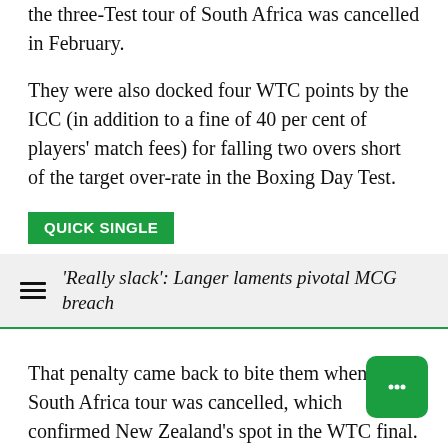the three-Test tour of South Africa was cancelled in February.
They were also docked four WTC points by the ICC (in addition to a fine of 40 per cent of players' match fees) for falling two overs short of the target over-rate in the Boxing Day Test.
QUICK SINGLE
'Really slack': Langer laments pivotal MCG breach
That penalty came back to bite them when the South Africa tour was cancelled, which confirmed New Zealand's spot in the WTC final. India then beat England in a home series to ensure they also made the final.
England finished fourth, and will pick up